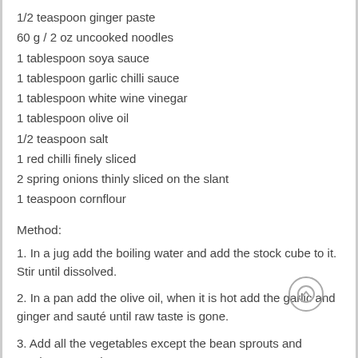1/2 teaspoon ginger paste
60 g / 2 oz uncooked noodles
1 tablespoon soya sauce
1 tablespoon garlic chilli sauce
1 tablespoon white wine vinegar
1 tablespoon olive oil
1/2 teaspoon salt
1 red chilli finely sliced
2 spring onions thinly sliced on the slant
1 teaspoon cornflour
Method:
1. In a jug add the boiling water and add the stock cube to it. Stir until dissolved.
2. In a pan add the olive oil, when it is hot add the garlic and ginger and sauté until raw taste is gone.
3. Add all the vegetables except the bean sprouts and mushrooms and